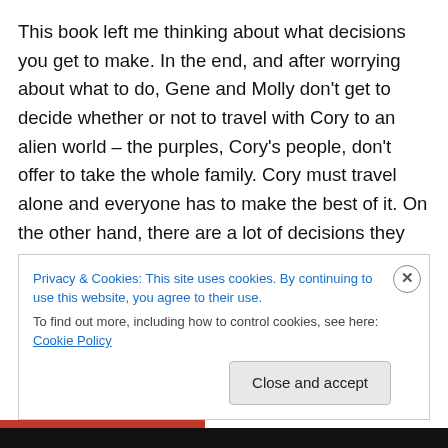This book left me thinking about what decisions you get to make. In the end, and after worrying about what to do, Gene and Molly don't get to decide whether or not to travel with Cory to an alien world – the purples, Cory's people, don't offer to take the whole family. Cory must travel alone and everyone has to make the best of it. On the other hand, there are a lot of decisions they have been able to make along the way: how to respond to Cory's arrival in the first book, how to handle Cory's development and
Privacy & Cookies: This site uses cookies. By continuing to use this website, you agree to their use.
To find out more, including how to control cookies, see here: Cookie Policy
Close and accept